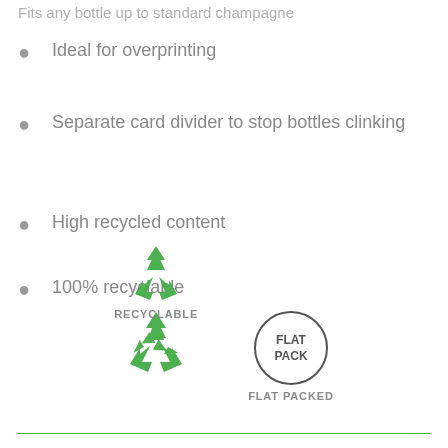Fits any bottle up to standard champagne
Ideal for overprinting
Separate card divider to stop bottles clinking
High recycled content
100% recyclable
[Figure (illustration): Recyclable symbol (green recycling arrows triangle) with label RECYCLABLE, and a circle with text FLAT PACK and label FLAT PACKED]